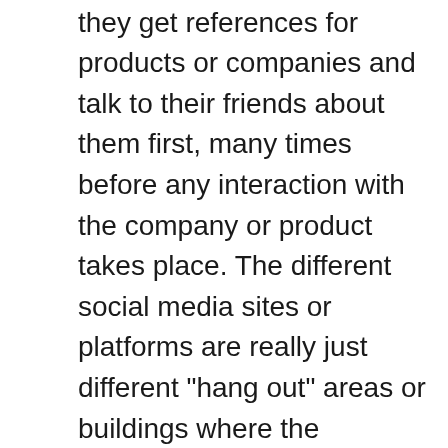they hangout on the web, they get references for products or companies and talk to their friends about them first, many times before any interaction with the company or product takes place. The different social media sites or platforms are really just different "hang out" areas or buildings where the architecture and manner of interacting is just a little different. Pinterest may have boards of pictures, where Twitter may quick link ideas and thoughts, where Facebook and Google + offer all types of media and communities and pages within which to interact. Then You Tube does just videos and so on. Well it's easy to get caught up in the scare and concern of content being on all different types of social media sites, but look at it another way. These are just different